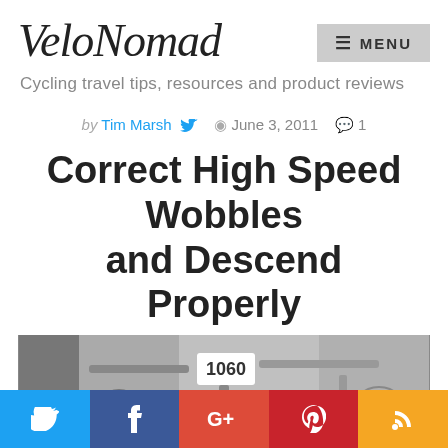VeloNomad
Cycling travel tips, resources and product reviews
by Tim Marsh  June 3, 2011  1
Correct High Speed Wobbles and Descend Properly
[Figure (photo): Black and white photo of bicycle handlebars with race number 1060]
Social share buttons: Twitter, Facebook, Google+, Pinterest, RSS